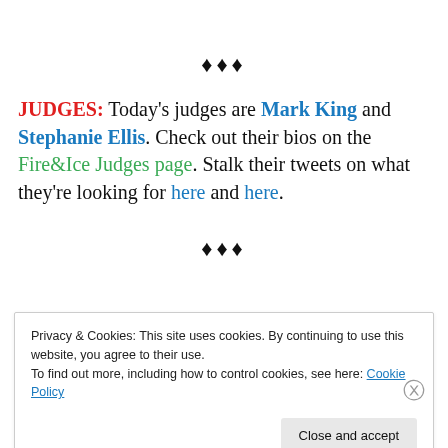♦♦♦
JUDGES: Today's judges are Mark King and Stephanie Ellis. Check out their bios on the Fire&Ice Judges page. Stalk their tweets on what they're looking for here and here.
♦♦♦
Privacy & Cookies: This site uses cookies. By continuing to use this website, you agree to their use. To find out more, including how to control cookies, see here: Cookie Policy
Close and accept